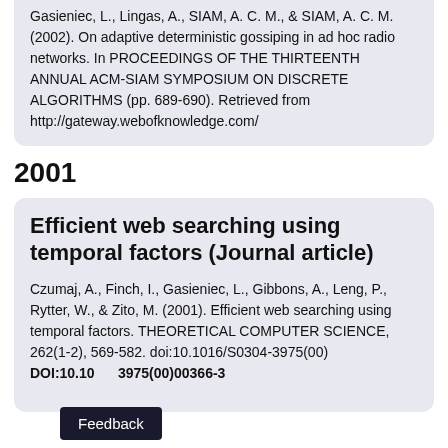Gasieniec, L., Lingas, A., SIAM, A. C. M., & SIAM, A. C. M. (2002). On adaptive deterministic gossiping in ad hoc radio networks. In PROCEEDINGS OF THE THIRTEENTH ANNUAL ACM-SIAM SYMPOSIUM ON DISCRETE ALGORITHMS (pp. 689-690). Retrieved from http://gateway.webofknowledge.com/
2001
Efficient web searching using temporal factors (Journal article)
Czumaj, A., Finch, I., Gasieniec, L., Gibbons, A., Leng, P., Rytter, W., & Zito, M. (2001). Efficient web searching using temporal factors. THEORETICAL COMPUTER SCIENCE, 262(1-2), 569-582. doi:10.1016/S0304-3975(00)...
DOI:10.10...3975(00)00366-3